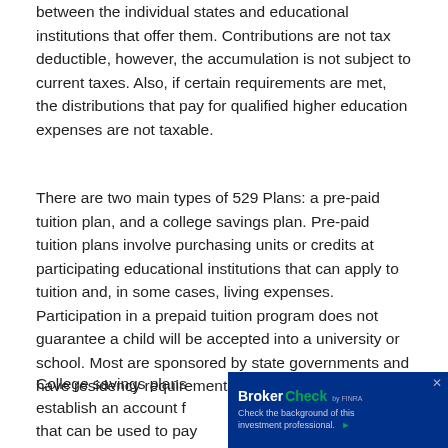between the individual states and educational institutions that offer them. Contributions are not tax deductible, however, the accumulation is not subject to current taxes. Also, if certain requirements are met, the distributions that pay for qualified higher education expenses are not taxable.
There are two main types of 529 Plans: a pre-paid tuition plan, and a college savings plan. Pre-paid tuition plans involve purchasing units or credits at participating educational institutions that can apply to tuition and, in some cases, living expenses. Participation in a prepaid tuition program does not guarantee a child will be accepted into a university or school. Most are sponsored by state governments and have residency requirements.
College savings plans establish an account f... that can be used to pay eligible college expe... 529 College Savings Plans offer a choice of i...
[Figure (other): BrokerCheck by FINRA widget overlay in bottom-right corner. Blue background with 'BrokerCheck' logo (white 'Broker' + green 'Check' text), 'by FINRA' in small text, and subtext 'Check the background of this investment professional' with a green arrow button. An X close button in top-right.]